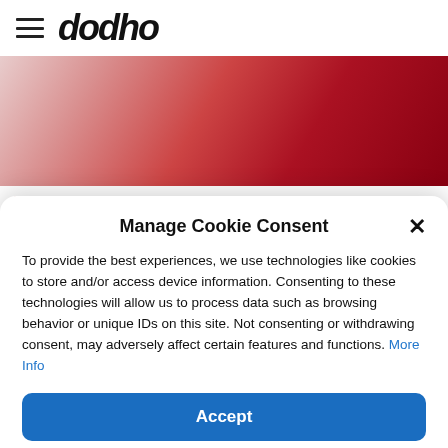dodho
[Figure (photo): Abstract close-up photo with red and pink tones, appearing to show draped fabric or similar soft material]
EUROPE   STORY
Manage Cookie Consent
To provide the best experiences, we use technologies like cookies to store and/or access device information. Consenting to these technologies will allow us to process data such as browsing behavior or unique IDs on this site. Not consenting or withdrawing consent, may adversely affect certain features and functions. More Info
Accept